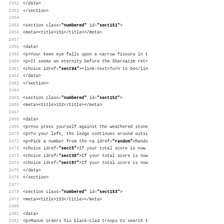Source code / XML listing showing sections sect151, sect152, sect153 with data elements, lines 2452-2483
[Figure (screenshot): Code editor view showing XML/markup source code with line numbers 2452-2483, displaying section elements with class='numbered' for sections 151, 152, 153 containing meta titles and data paragraphs]